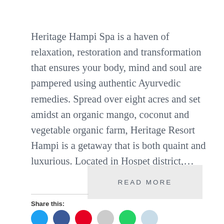Heritage Hampi Spa is a haven of relaxation, restoration and transformation that ensures your body, mind and soul are pampered using authentic Ayurvedic remedies. Spread over eight acres and set amidst an organic mango, coconut and vegetable organic farm, Heritage Resort Hampi is a getaway that is both quaint and luxurious. Located in Hospet district,…
READ MORE
Share this: